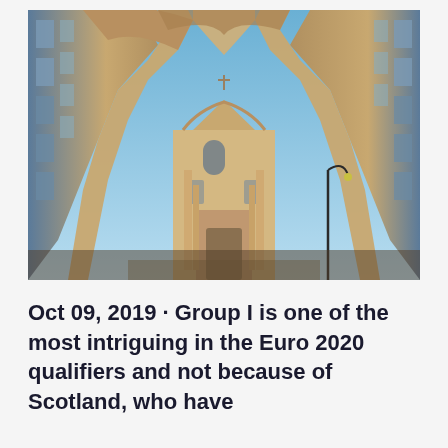[Figure (photo): Upward-looking fisheye/wide-angle photograph of a Baroque church facade surrounded by tall historic buildings, with a clear blue sky in the center. The architectural composition creates a dramatic keyhole-like framing with ornate stonework and a lantern visible on the right.]
Oct 09, 2019 · Group I is one of the most intriguing in the Euro 2020 qualifiers and not because of Scotland, who have